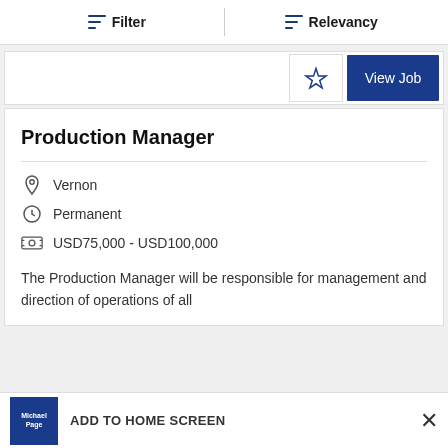Filter | Relevancy
[Figure (screenshot): Partial job listing card showing View Job button and star/bookmark icon]
Production Manager
Vernon
Permanent
USD75,000 - USD100,000
The Production Manager will be responsible for management and direction of operations of all
ADD TO HOME SCREEN